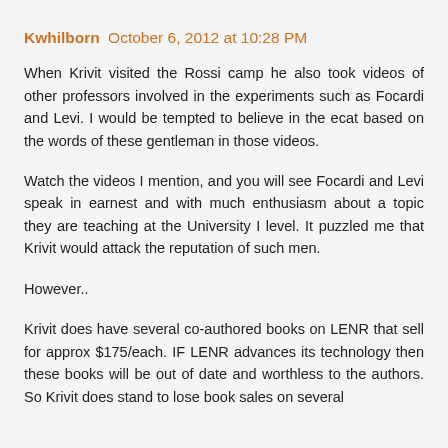Kwhilborn  October 6, 2012 at 10:28 PM
When Krivit visited the Rossi camp he also took videos of other professors involved in the experiments such as Focardi and Levi. I would be tempted to believe in the ecat based on the words of these gentleman in those videos.
Watch the videos I mention, and you will see Focardi and Levi speak in earnest and with much enthusiasm about a topic they are teaching at the University I level. It puzzled me that Krivit would attack the reputation of such men.
However..
Krivit does have several co-authored books on LENR that sell for approx $175/each. IF LENR advances its technology then these books will be out of date and worthless to the authors. So Krivit does stand to lose book sales on several